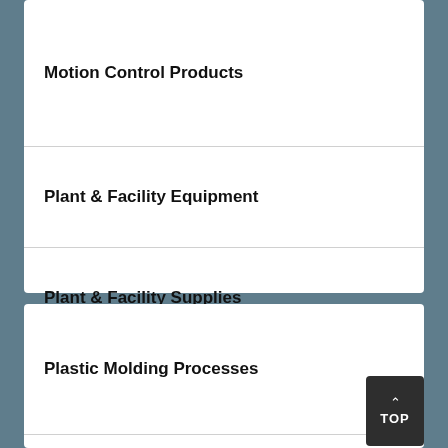Motion Control Products
Plant & Facility Equipment
Plant & Facility Supplies
Plastic Molding Processes
Pumps & Valves